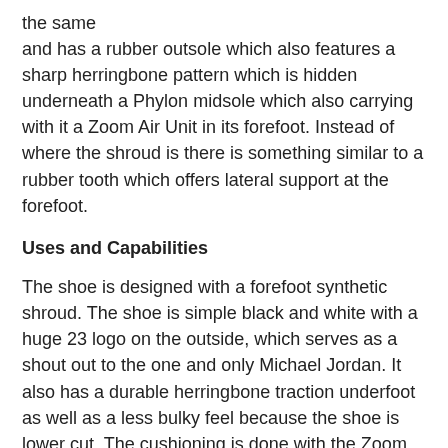the same
and has a rubber outsole which also features a sharp herringbone pattern which is hidden underneath a Phylon midsole which also carrying with it a Zoom Air Unit in its forefoot. Instead of where the shroud is there is something similar to a rubber tooth which offers lateral support at the forefoot.
Uses and Capabilities
The shoe is designed with a forefoot synthetic shroud. The shoe is simple black and white with a huge 23 logo on the outside, which serves as a shout out to the one and only Michael Jordan. It also has a durable herringbone traction underfoot as well as a less bulky feel because the shoe is lower cut. The cushioning is done with the Zoom Air Units in the forefoot and heel. These are further imbedded in to the Phylon midsole. This shoe is very different in design from the Ultra Fly 2 where the compression creates an excellent fit.